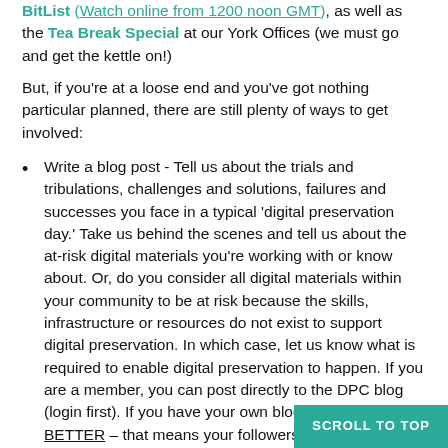BitList (Watch online from 1200 noon GMT), as well as the Tea Break Special at our York Offices (we must go and get the kettle on!)
But, if you're at a loose end and you've got nothing particular planned, there are still plenty of ways to get involved:
Write a blog post - Tell us about the trials and tribulations, challenges and solutions, failures and successes you face in a typical 'digital preservation day.' Take us behind the scenes and tell us about the at-risk digital materials you're working with or know about. Or, do you consider all digital materials within your community to be at risk because the skills, infrastructure or resources do not exist to support digital preservation. In which case, let us know what is required to enable digital preservation to happen. If you are a member, you can post directly to the DPC blog (login first). If you have your own blog – EVEN BETTER – that means your followers (as well as the community) get to hear about digital preservation too. Just